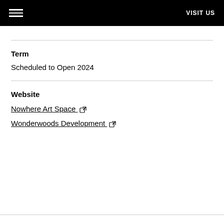VISIT US
Term
Scheduled to Open 2024
Website
Nowhere Art Space
Wonderwoods Development